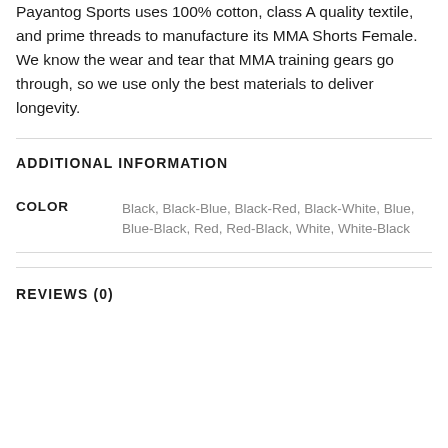Payantog Sports uses 100% cotton, class A quality textile, and prime threads to manufacture its MMA Shorts Female. We know the wear and tear that MMA training gears go through, so we use only the best materials to deliver longevity.
ADDITIONAL INFORMATION
|  |  |
| --- | --- |
| COLOR | Black, Black-Blue, Black-Red, Black-White, Blue, Blue-Black, Red, Red-Black, White, White-Black |
REVIEWS (0)